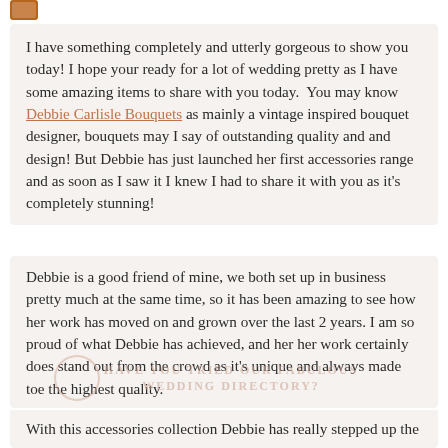[Figure (logo): Small brown/tan logo or image in top-left corner]
I have something completely and utterly gorgeous to show you today! I hope your ready for a lot of wedding pretty as I have some amazing items to share with you today.  You may know Debbie Carlisle Bouquets as mainly a vintage inspired bouquet designer, bouquets may I say of outstanding quality and and design! But Debbie has just launched her first accessories range and as soon as I saw it I knew I had to share it with you as it's completely stunning!
Debbie is a good friend of mine, we both set up in business pretty much at the same time, so it has been amazing to see how her work has moved on and grown over the last 2 years. I am so proud of what Debbie has achieved, and her her work certainly does stand out from the crowd as it's unique and always made toe the highest quality.
With this accessories collection Debbie has really stepped up the